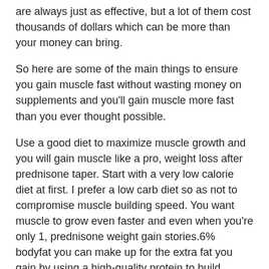are always just as effective, but a lot of them cost thousands of dollars which can be more than your money can bring.
So here are some of the main things to ensure you gain muscle fast without wasting money on supplements and you'll gain muscle more fast than you ever thought possible.
Use a good diet to maximize muscle growth and you will gain muscle like a pro, weight loss after prednisone taper. Start with a very low calorie diet at first. I prefer a low carb diet so as not to compromise muscle building speed. You want muscle to grow even faster and even when you're only 1, prednisone weight gain stories.6% bodyfat you can make up for the extra fat you gain by using a high-quality protein to build muscle, prednisone weight gain stories. I have done both, will 5mg of prednisone cause weight